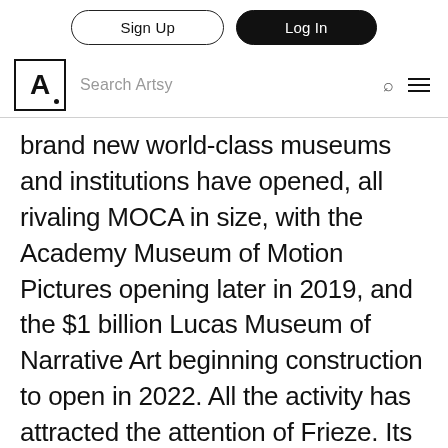Sign Up | Log In | Search Artsy
brand new world-class museums and institutions have opened, all rivaling MOCA in size, with the Academy Museum of Motion Pictures opening later in 2019, and the $1 billion Lucas Museum of Narrative Art beginning construction to open in 2022. All the activity has attracted the attention of Frieze. Its sophomore LA show will be held in Hollywood the weekend after LA Art Show kicks off the 2020 season, also leading into a number of other fairs.